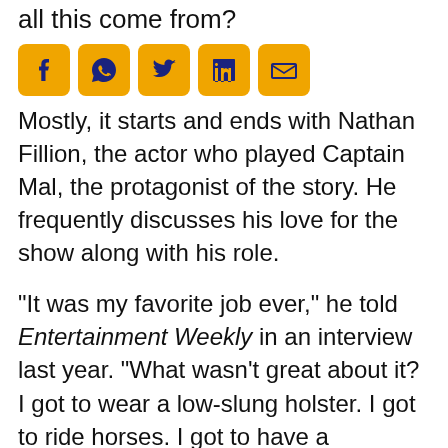all this come from?
[Figure (other): Row of five social media share icons: Facebook, WhatsApp, Twitter, LinkedIn, Email — gold/amber rounded square buttons with dark navy icons]
Mostly, it starts and ends with Nathan Fillion, the actor who played Captain Mal, the protagonist of the story. He frequently discusses his love for the show along with his role.
“It was my favorite job ever,” he told Entertainment Weekly in an interview last year. “What wasn’t great about it? I got to wear a low-slung holster. I got to ride horses. I got to have a spaceship. I got to act mean and curmudgeonly.” The actor has expressed this opinion on many occasions, and a lot of his